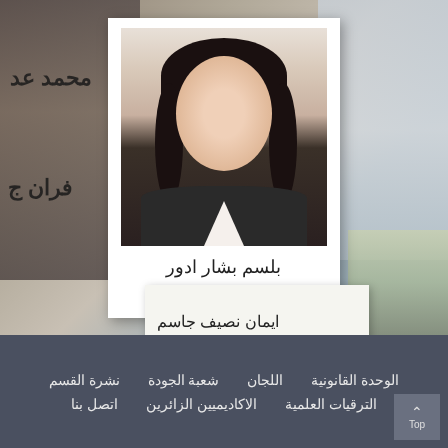[Figure (photo): Profile photo collage page showing a woman (بلسم بشار ادور) in a polaroid-style card with other background photos and Arabic text overlays]
محمد عد
فران ج
بلسم بشار ادور
ايمان نصيف جاسم
الوحدة القانونية
اللجان
شعبة الجودة
نشرة القسم
الترقيات العلمية
الاكاديميين الزائرين
اتصل بنا